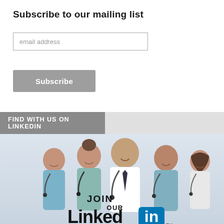Subscribe to our mailing list
email address
Subscribe
FIND WITH US ON LINKEDIN
[Figure (photo): Group of five smiling medical professionals in scrubs and white coats with stethoscopes, posed together, with a LinkedIn 'Join Our LinkedIn' promotional overlay banner at the bottom.]